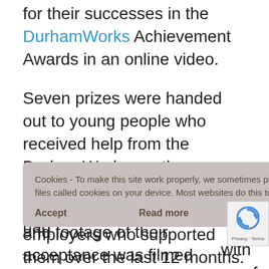for their successes in the DurhamWorks Achievement Awards in an online video.
Seven prizes were handed out to young people who received help from the DurhamWorks youth employment programme, as well as the partners and employers who supported them over the last 12 months.
[Figure (screenshot): Cookie consent overlay banner with text: 'Cookies - To make this site work properly, we sometimes place small data files called cookies on your device. Most websites do this too.' with Accept and Read more buttons.]
...am had ...with ...es of w and footage of their acceptance was filmed